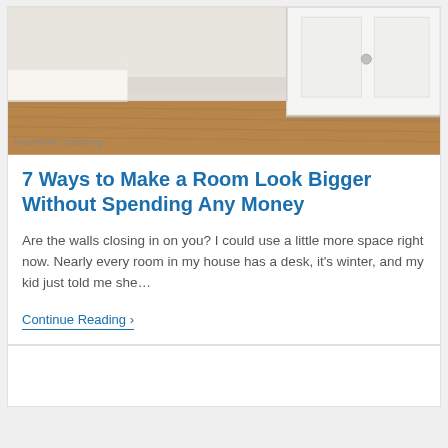[Figure (photo): Photo of a white cabinet/desk against a wall with wooden floor, watermarked with 'HeartWork Organizing']
HeartWork Organizing
7 Ways to Make a Room Look Bigger Without Spending Any Money
Are the walls closing in on you? I could use a little more space right now. Nearly every room in my house has a desk, it's winter, and my kid just told me she…
Continue Reading ›